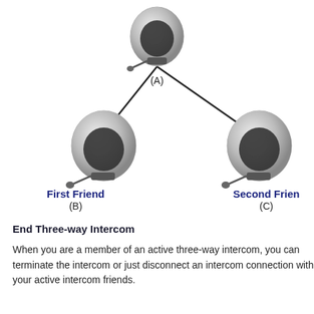[Figure (organizational-chart): Three motorcycle helmets with headsets arranged in a triangular network diagram. Top helmet labeled (A), bottom-left labeled First Friend (B), bottom-right labeled Second Friend (C). Lines connect A to B and A to C.]
End Three-way Intercom
When you are a member of an active three-way intercom, you can terminate the intercom or just disconnect an intercom connection with your active intercom friends.